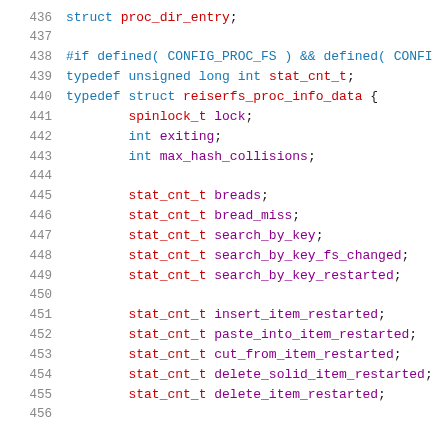436  struct proc_dir_entry;
437
438  #if defined( CONFIG_PROC_FS ) && defined( CONFI
439  typedef unsigned long int stat_cnt_t;
440  typedef struct reiserfs_proc_info_data {
441       spinlock_t lock;
442       int exiting;
443       int max_hash_collisions;
444
445       stat_cnt_t breads;
446       stat_cnt_t bread_miss;
447       stat_cnt_t search_by_key;
448       stat_cnt_t search_by_key_fs_changed;
449       stat_cnt_t search_by_key_restarted;
450
451       stat_cnt_t insert_item_restarted;
452       stat_cnt_t paste_into_item_restarted;
453       stat_cnt_t cut_from_item_restarted;
454       stat_cnt_t delete_solid_item_restarted;
455       stat_cnt_t delete_item_restarted;
456